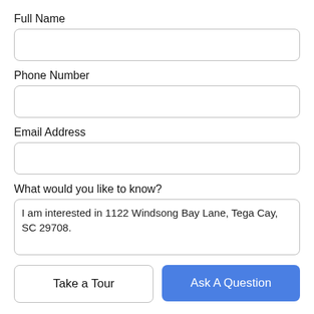Full Name
[Figure (other): Empty text input field for Full Name]
Phone Number
[Figure (other): Empty text input field for Phone Number]
Email Address
[Figure (other): Empty text input field for Email Address]
What would you like to know?
I am interested in 1122 Windsong Bay Lane, Tega Cay, SC 29708.
Take a Tour
Ask A Question